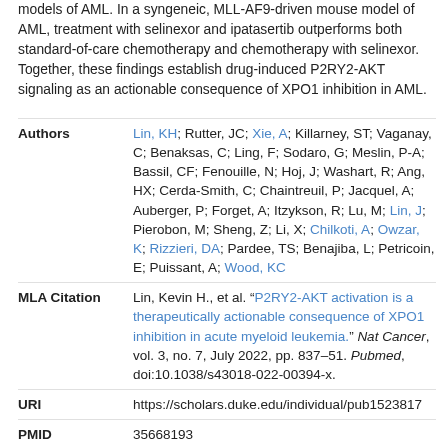models of AML. In a syngeneic, MLL-AF9-driven mouse model of AML, treatment with selinexor and ipatasertib outperforms both standard-of-care chemotherapy and chemotherapy with selinexor. Together, these findings establish drug-induced P2RY2-AKT signaling as an actionable consequence of XPO1 inhibition in AML.
| Field | Value |
| --- | --- |
| Authors | Lin, KH; Rutter, JC; Xie, A; Killarney, ST; Vaganay, C; Benaksas, C; Ling, F; Sodaro, G; Meslin, P-A; Bassil, CF; Fenouille, N; Hoj, J; Washart, R; Ang, HX; Cerda-Smith, C; Chaintreuil, P; Jacquel, A; Auberger, P; Forget, A; Itzykson, R; Lu, M; Lin, J; Pierobon, M; Sheng, Z; Li, X; Chilkoti, A; Owzar, K; Rizzieri, DA; Pardee, TS; Benajiba, L; Petricoin, E; Puissant, A; Wood, KC |
| MLA Citation | Lin, Kevin H., et al. "P2RY2-AKT activation is a therapeutically actionable consequence of XPO1 inhibition in acute myeloid leukemia." Nat Cancer, vol. 3, no. 7, July 2022, pp. 837–51. Pubmed, doi:10.1038/s43018-022-00394-x. |
| URI | https://scholars.duke.edu/individual/pub1523817 |
| PMID | 35668193 |
| Source | pubmed |
| Published In | Nature Cancer |